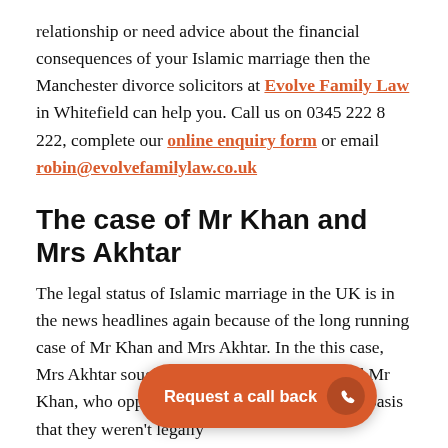relationship or need advice about the financial consequences of your Islamic marriage then the Manchester divorce solicitors at Evolve Family Law in Whitefield can help you. Call us on 0345 222 8 222, complete our online enquiry form or email robin@evolvefamilylaw.co.uk
The case of Mr Khan and Mrs Akhtar
The legal status of Islamic marriage in the UK is in the news headlines again because of the long running case of Mr Khan and Mrs Akhtar. In the this case, Mrs Akhtar sought a divorce from her husband, Mr Khan, who opposed the divorce petition on the basis that they weren't legally